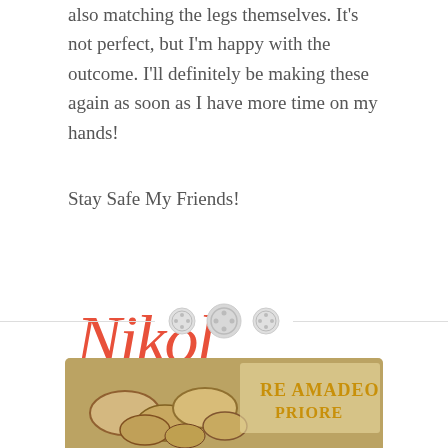also matching the legs themselves. It's not perfect, but I'm happy with the outcome. I'll definitely be making these again as soon as I have more time on my hands!
Stay Safe My Friends!
[Figure (illustration): Handwritten script signature reading 'Nikol' in coral/red color with 'XOX' text below featuring teal button decorations]
[Figure (other): Horizontal divider line with three decorative button icons centered on it]
[Figure (photo): Photograph showing ornate carved wooden or stone decorative elements with gold lettering reading 'RE AMADEO PRIORE']